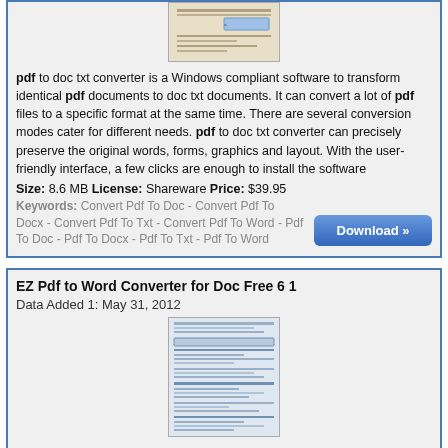[Figure (screenshot): Screenshot of PDF to doc txt converter software interface]
pdf to doc txt converter is a Windows compliant software to transform identical pdf documents to doc txt documents. It can convert a lot of pdf files to a specific format at the same time. There are several conversion modes cater for different needs. pdf to doc txt converter can precisely preserve the original words, forms, graphics and layout. With the user-friendly interface, a few clicks are enough to install the software
Size: 8.6 MB License: Shareware Price: $39.95
Keywords: Convert Pdf To Doc - Convert Pdf To Docx - Convert Pdf To Txt - Convert Pdf To Word - Pdf To Doc - Pdf To Docx - Pdf To Txt - Pdf To Word
[Figure (screenshot): Download button]
EZ Pdf to Word Converter for Doc Free 6 1
Data Added 1: May 31, 2012
[Figure (screenshot): Screenshot of EZ Pdf to Word Converter software interface]
EZ Pdf to Word Converter for Doc Free supports the fast, affordable way to create professional-quality documents in as doc,txt formats without losing any the original Text, Tables, Graphics & Layout. With it. you can edit and reuse your PDF content. EZ Pdf to Word Converter